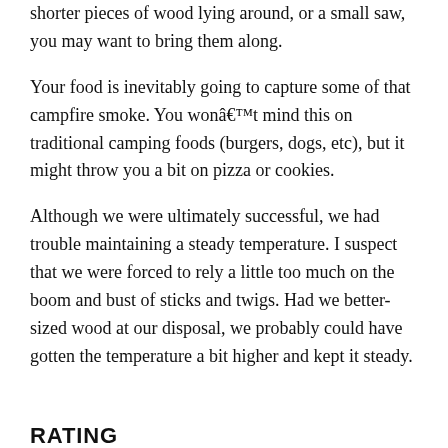shorter pieces of wood lying around, or a small saw, you may want to bring them along.
Your food is inevitably going to capture some of that campfire smoke. You wonâ€™t mind this on traditional camping foods (burgers, dogs, etc), but it might throw you a bit on pizza or cookies.
Although we were ultimately successful, we had trouble maintaining a steady temperature. I suspect that we were forced to rely a little too much on the boom and bust of sticks and twigs. Had we better-sized wood at our disposal, we probably could have gotten the temperature a bit higher and kept it steady.
RATING